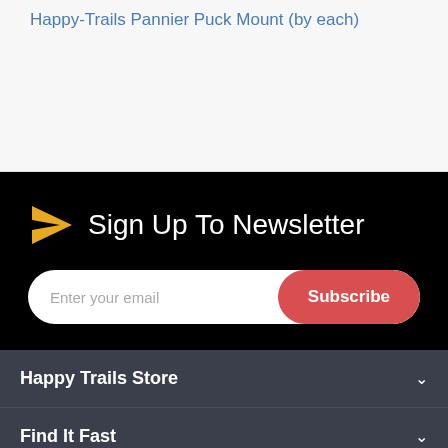Happy-Trails Pannier Puck Mount (by each)
Sign Up To Newsletter
Enter your email
Subscribe
Happy Trails Store
Find It Fast